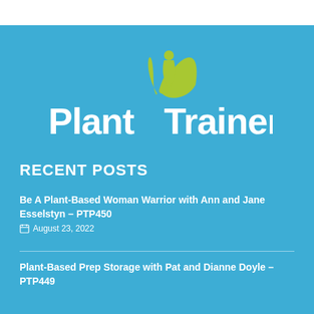[Figure (logo): Plant Trainers logo: green leaf/plant icon above text 'Plant Trainers' in white on blue background]
RECENT POSTS
Be A Plant-Based Woman Warrior with Ann and Jane Esselstyn – PTP450
August 23, 2022
Plant-Based Prep Storage with Pat and Dianne Doyle – PTP449